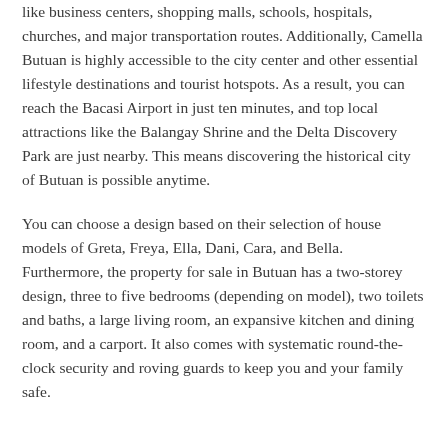like business centers, shopping malls, schools, hospitals, churches, and major transportation routes. Additionally, Camella Butuan is highly accessible to the city center and other essential lifestyle destinations and tourist hotspots. As a result, you can reach the Bacasi Airport in just ten minutes, and top local attractions like the Balangay Shrine and the Delta Discovery Park are just nearby. This means discovering the historical city of Butuan is possible anytime.
You can choose a design based on their selection of house models of Greta, Freya, Ella, Dani, Cara, and Bella. Furthermore, the property for sale in Butuan has a two-storey design, three to five bedrooms (depending on model), two toilets and baths, a large living room, an expansive kitchen and dining room, and a carport. It also comes with systematic round-the-clock security and roving guards to keep you and your family safe.